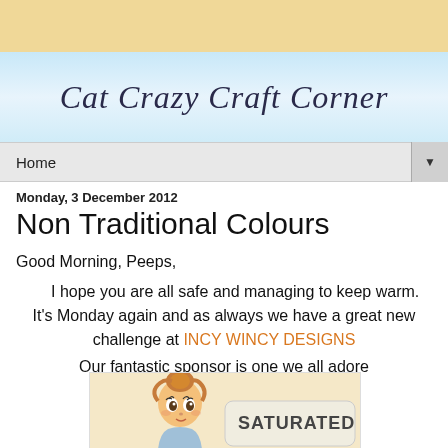Cat Crazy Craft Corner
Home
Monday, 3 December 2012
Non Traditional Colours
Good Morning, Peeps,
      I hope you are all safe and managing to keep warm.  It's Monday again and as always we have a great new challenge at INCY WINCY DESIGNS
Our fantastic sponsor is one we all adore
[Figure (illustration): Cartoon illustration of a girl with red/orange hair in a bun, big eyes, partial view of a sign reading SATURATED]